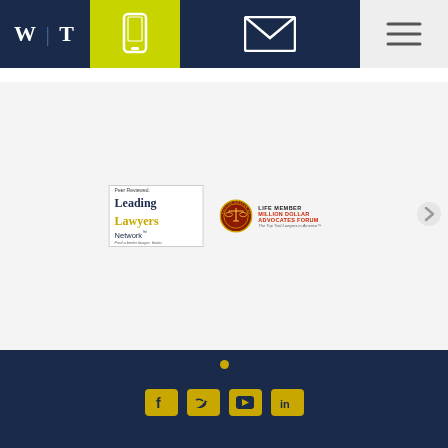[Figure (logo): W|T law firm logo in white on dark navy header bar]
[Figure (logo): Leading Lawyers Network peer reviewed badge]
[Figure (logo): Million Dollar Advocates Forum Life Member badge with scales of justice seal]
Social media icons: Facebook, Twitter, YouTube, LinkedIn